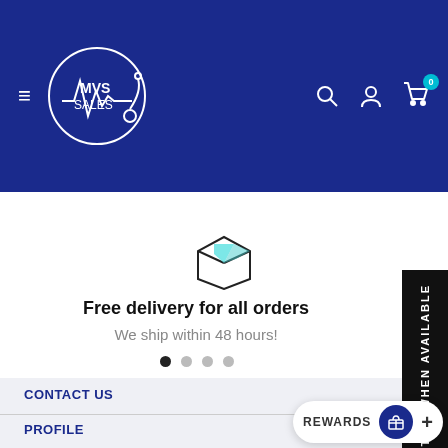[Figure (screenshot): MVS Sales website header with dark blue background, hamburger menu, MVS Sales logo (circular with heartbeat line), search icon, user icon, and cart icon with 0 badge]
[Figure (illustration): Box/package icon for free delivery feature]
Free delivery for all orders
We ship within 48 hours!
[Figure (other): Carousel dots: 4 dots, first one active (dark), rest gray]
CONTACT US
PROFILE
[Figure (other): NOTIFY WHEN AVAILABLE vertical black sidebar tab on right]
REWARDS